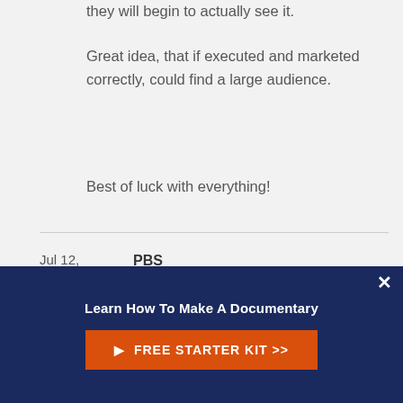they will begin to actually see it.
Great idea, that if executed and marketed correctly, could find a large audience.
Best of luck with everything!
Jul 12, 2013
Rating
PBS
by: Ana
Learn How To Make A Documentary
FREE STARTER KIT >>